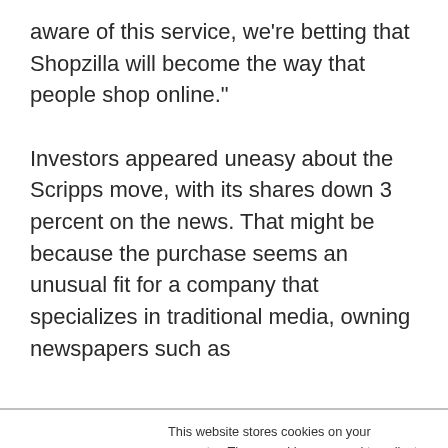aware of this service, we're betting that Shopzilla will become the way that people shop online."

Investors appeared uneasy about the Scripps move, with its shares down 3 percent on the news. That might be because the purchase seems an unusual fit for a company that specializes in traditional media, owning newspapers such as
This website stores cookies on your computer. These cookies are used to collect information about how you interact with our website and allow us to remember you. We use this information in order to improve and customize your browsing experience and for analytics and metrics about our visitors both on this website and other media. To find out more about the cookies we use, see our Privacy Policy. California residents have the right to direct us not to sell their personal information to third parties by filing an Opt-Out Request: Do Not Sell My Personal Info.
Accept